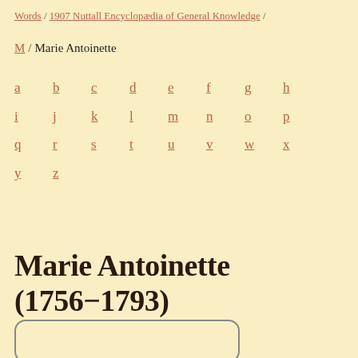Words / 1907 Nuttall Encyclopædia of General Knowledge /
M / Marie Antoinette
a b c d e f g h i j k l m n o p q r s t u v w x y z
Marie Antoinette (1756−1793)